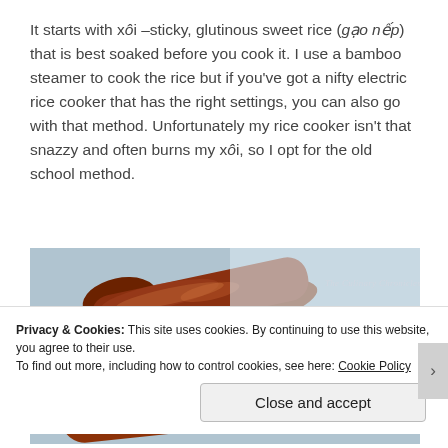It starts with xôi –sticky, glutinous sweet rice (gạo nếp) that is best soaked before you cook it. I use a bamboo steamer to cook the rice but if you've got a nifty electric rice cooker that has the right settings, you can also go with that method. Unfortunately my rice cooker isn't that snazzy and often burns my xôi, so I opt for the old school method.
[Figure (photo): Close-up photo of several Chinese sausages (lap cheong) that are browned and caramelized, arranged on a light blue/white surface. A watermark reads 'The Culinary Chronicles' in the upper right.]
Privacy & Cookies: This site uses cookies. By continuing to use this website, you agree to their use.
To find out more, including how to control cookies, see here: Cookie Policy